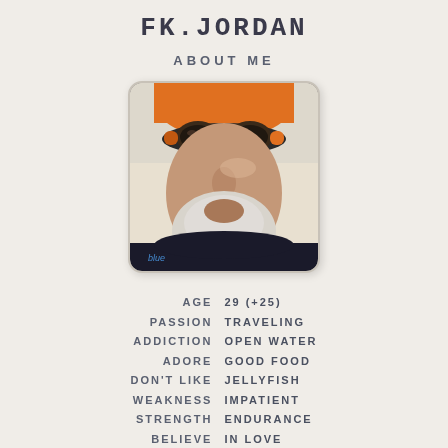FK.JORDAN
ABOUT ME
[Figure (photo): Close-up photo of a middle-aged man with white/grey beard wearing orange swimming goggles on his forehead and a dark wetsuit, photographed from below against a bright sky]
AGE 29 (+25)
PASSION TRAVELING
ADDICTION OPEN WATER
ADORE GOOD FOOD
DON'T LIKE JELLYFISH
WEAKNESS IMPATIENT
STRENGTH ENDURANCE
BELIEVE IN LOVE